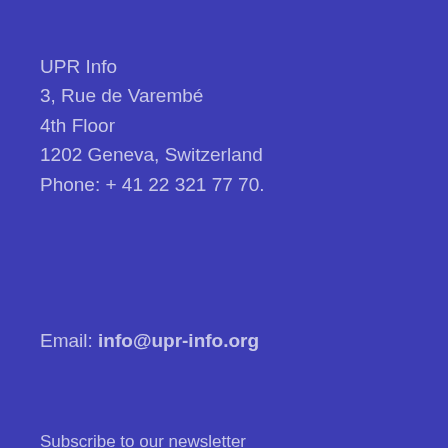UPR Info
3, Rue de Varembé
4th Floor
1202 Geneva, Switzerland
Phone: + 41 22 321 77 70.
Email: info@upr-info.org
Subscribe to our newsletter
We use cookies on this site to enhance your user experience
By clicking the Accept button, you agree to us doing so. More info
Accept
No, thanks